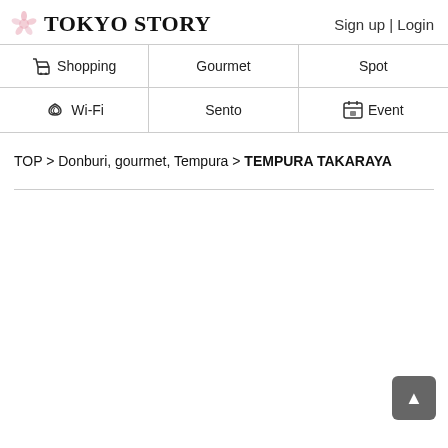TOKYO STORY
Sign up | Login
Shopping
Gourmet
Spot
Wi-Fi
Sento
Event
TOP > Donburi, gourmet, Tempura > TEMPURA TAKARAYA